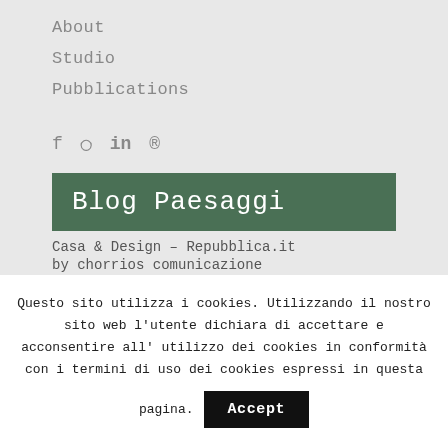About
Studio
Pubblications
[Figure (infographic): Social media icons row: Facebook (f), Instagram (circle icon), LinkedIn (in), Pinterest (circle with p icon)]
Blog Paesaggi
Casa & Design – Repubblica.it
by chorrios comunicazione
Questo sito utilizza i cookies. Utilizzando il nostro sito web l'utente dichiara di accettare e acconsentire all' utilizzo dei cookies in conformità con i termini di uso dei cookies espressi in questa pagina.
Accept